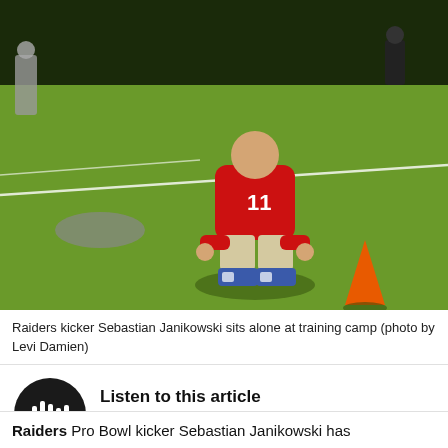[Figure (photo): Raiders kicker Sebastian Janikowski crouching alone on green football training camp field wearing red jersey number 11, with orange traffic cone visible to the right, other players and coaches in background]
Raiders kicker Sebastian Janikowski sits alone at training camp (photo by Levi Damien)
[Figure (other): Audio player widget with dark circular play button and waveform visualization]
Listen to this article
Raiders Pro Bowl kicker Sebastian Janikowski has